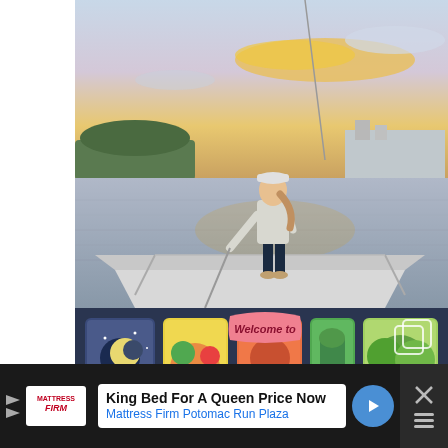[Figure (photo): A woman standing on the bow of a sailboat at sunset, looking out over calm water with a marina and colorful sky in the background.]
[Figure (photo): Two women taking a selfie in front of a colorful 'Welcome to Mobile' mural with large illustrated letters.]
King Bed For A Queen Price Now
Mattress Firm Potomac Run Plaza